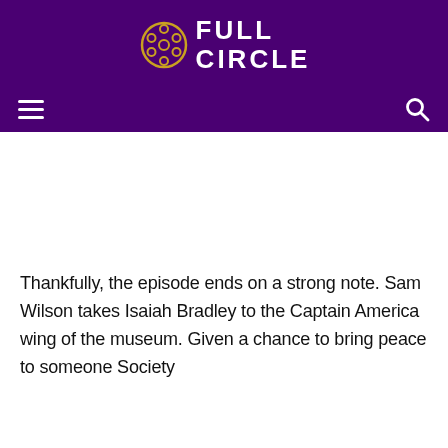FULL CIRCLE
Thankfully, the episode ends on a strong note. Sam Wilson takes Isaiah Bradley to the Captain America wing of the museum. Given a chance to bring peace to someone Society